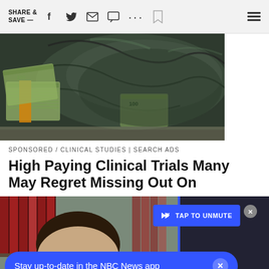SHARE & SAVE —
[Figure (photo): Bundles of US $100 bills wrapped in black plastic bags/sheeting on a surface]
SPONSORED / CLINICAL STUDIES | SEARCH ADS
High Paying Clinical Trials Many May Regret Missing Out On
[Figure (photo): Man in suit with dark hair against background of law books; video player overlay with TAP TO UNMUTE button]
Stay up-to-date in the NBC News app